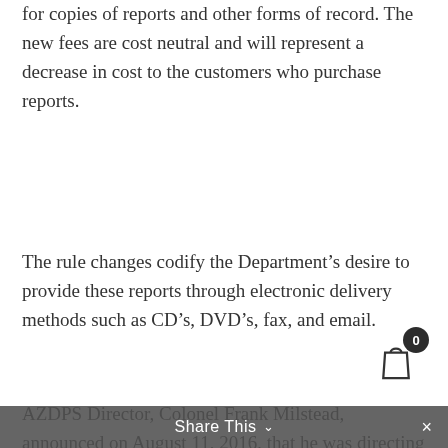for copies of reports and other forms of record. The new fees are cost neutral and will represent a decrease in cost to the customers who purchase reports.
The rule changes codify the Department's desire to provide these reports through electronic delivery methods such as CD's, DVD's, fax, and email.
AZDPS Director, Colonel Frank Milstead, announced on August 11, 2016, that he was directing his staff to review the fee structure for public records. In his statement at that time he said, “When questions were raised regarding the fees we charge for public records, I directed staff to research the issue.” The changes are a direct result of that directive.
Share This ∨